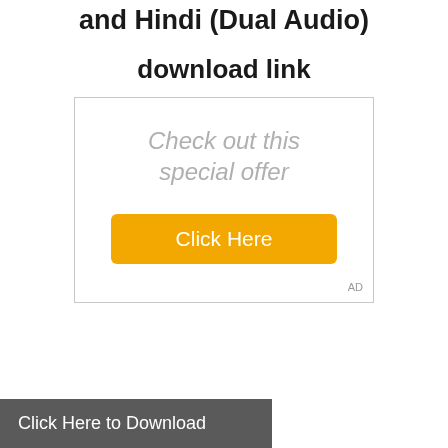and Hindi (Dual Audio)
download link
[Figure (other): Advertisement box with text 'Check out this special offer' in italic gray, a yellow 'Click Here' button, and 'AD' label in bottom-right corner]
Click Here to Download